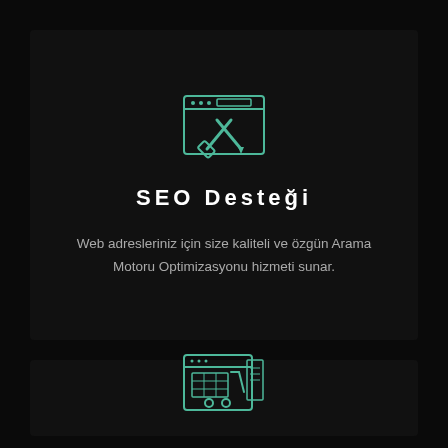[Figure (illustration): Browser/monitor icon with crossed wrench and screwdriver tools, teal/green outline style on dark background]
SEO Desteği
Web adresleriniz için size kaliteli ve özgün Arama Motoru Optimizasyonu hizmeti sunar.
[Figure (illustration): Browser/monitor icon with a shopping cart inside, teal/green outline style on dark background]